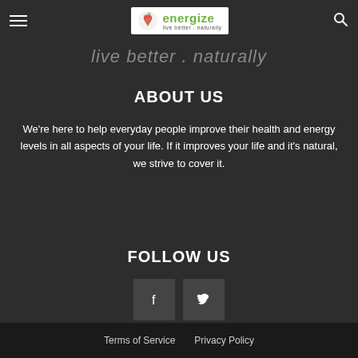Energize – live better . naturally
live better . naturally
ABOUT US
We're here to help everyday people improve their health and energy levels in all aspects of your life. If it improves your life and it's natural, we strive to cover it.
FOLLOW US
[Figure (other): Facebook and Twitter social media icon buttons]
Terms of Service  Privacy Policy